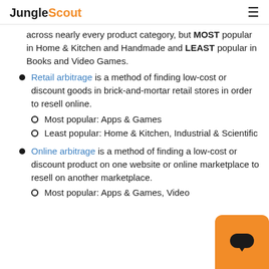JungleScout
across nearly every product category, but MOST popular in Home & Kitchen and Handmade and LEAST popular in Books and Video Games.
Retail arbitrage is a method of finding low-cost or discount goods in brick-and-mortar retail stores in order to resell online.
  Most popular: Apps & Games
  Least popular: Home & Kitchen, Industrial & Scientific
Online arbitrage is a method of finding a low-cost or discount product on one website or online marketplace to resell on another marketplace.
  Most popular: Apps & Games, Video...